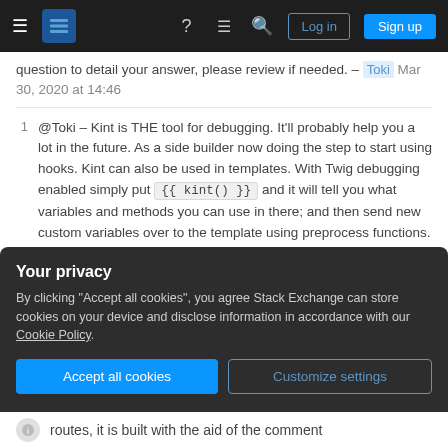Stack Exchange navigation bar with hamburger menu, logo, help, chat, search icons, Log in and Sign up buttons
question to detail your answer, please review if needed. – Toki Mar 30, 2020 at 14:46
@Toki – Kint is THE tool for debugging. It'll probably help you a lot in the future. As a side builder now doing the step to start using hooks. Kint can also be used in templates. With Twig debugging enabled simply put {{ kint() }} and it will tell you what variables and methods you can use in there; and then send new custom variables over to the template using preprocess functions. Have fun! – leymannx Mar 30, 2020 at 14:52
Add a comment
Your privacy
By clicking "Accept all cookies", you agree Stack Exchange can store cookies on your device and disclose information in accordance with our Cookie Policy.
Accept all cookies
Customize settings
routes, it is built with the aid of the comment